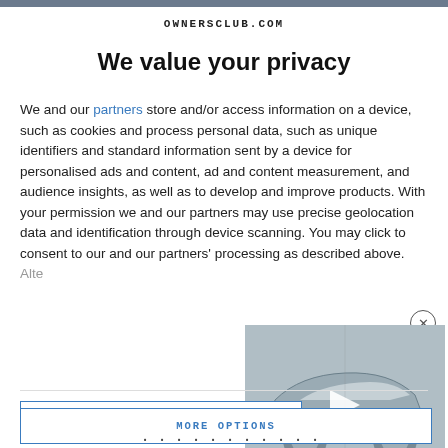OWNERSCLUB.COM
We value your privacy
We and our partners store and/or access information on a device, such as cookies and process personal data, such as unique identifiers and standard information sent by a device for personalised ads and content, ad and content measurement, and audience insights, as well as to develop and improve products. With your permission we and our partners may use precise geolocation data and identification through device scanning. You may click to consent to our and our partners' processing as described above. Alte...
[Figure (screenshot): Video overlay showing a sports car (Lamborghini-style) with a play button arrow, displayed in grayscale thumbnail]
AGR...
MORE OPTIONS
...italic partial text at bottom...